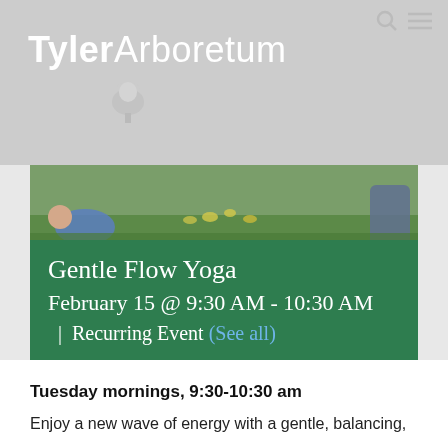[Figure (screenshot): Tyler Arboretum website header with logo, search and menu icons on a semi-transparent grey background]
[Figure (photo): Outdoor yoga class photo with people lying in grass with flowers in background]
Gentle Flow Yoga
February 15 @ 9:30 AM - 10:30 AM  |  Recurring Event (See all)
Tuesday mornings, 9:30-10:30 am
Enjoy a new wave of energy with a gentle, balancing,